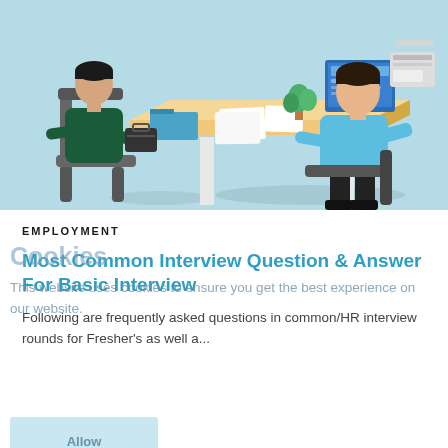[Figure (illustration): Isometric illustration of a job interview scene: a person in dark clothing sits on the left side of a desk holding documents, while another person in a light blue shirt sits on the right side in front of a computer monitor and printer on a light blue background.]
EMPLOYMENT
Most Common Interview Question & Answer For Basic Interview
Following are frequently asked questions in common/HR interview rounds for Fresher's as well a...